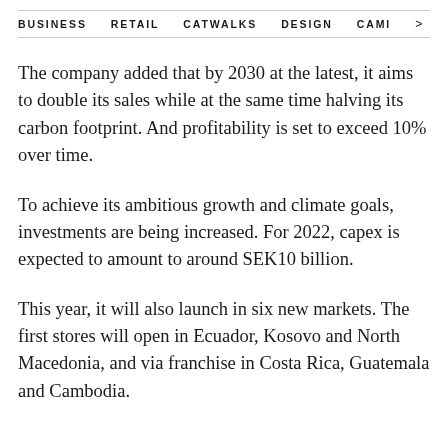BUSINESS   RETAIL   CATWALKS   DESIGN   CAMI >
The company added that by 2030 at the latest, it aims to double its sales while at the same time halving its carbon footprint. And profitability is set to exceed 10% over time.
To achieve its ambitious growth and climate goals, investments are being increased. For 2022, capex is expected to amount to around SEK10 billion.
This year, it will also launch in six new markets. The first stores will open in Ecuador, Kosovo and North Macedonia, and via franchise in Costa Rica, Guatemala and Cambodia.